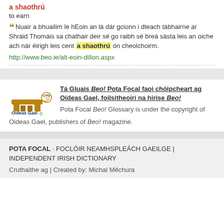a shaothrú
to earn
Nuair a bhuailim le hEoin an lá dár gcionn i dteach tábhairne ar Shráid Thomáis sa chathair deir sé go raibh sé breá sásta leis an oiche ach nár éirigh leis cent a shaothrú ón cheolchoirm.
http://www.beo.ie/alt-eoin-dillon.aspx
Tá Gluais Beo! Pota Focal faoi chóipcheart ag Oideas Gael, foilsitheoirí na hirise Beo!
Pota Focal Beo! Glossary is under the copyright of Oideas Gael, publishers of Beo! magazine.
POTA FOCAL · FOCLÓIR NEAMHSPLEÁCH GAEILGE | INDEPENDENT IRISH DICTIONARY
Cruthaithe ag | Created by: Michal Měchura